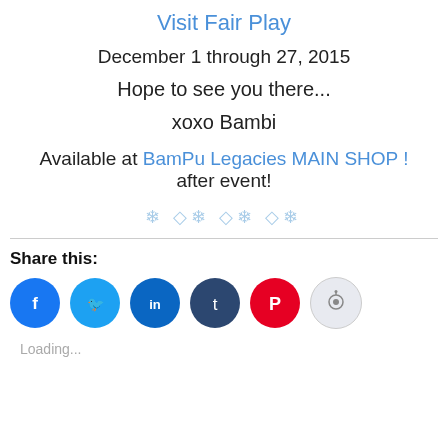Visit Fair Play
December 1 through 27, 2015
Hope to see you there...
xoxo Bambi
Available at BamPu Legacies MAIN SHOP ! after event!
[Figure (other): Decorative snowflake and diamond symbols in light blue]
Share this:
[Figure (other): Social sharing icons: Facebook, Twitter, LinkedIn, Tumblr, Pinterest, Reddit]
Loading...